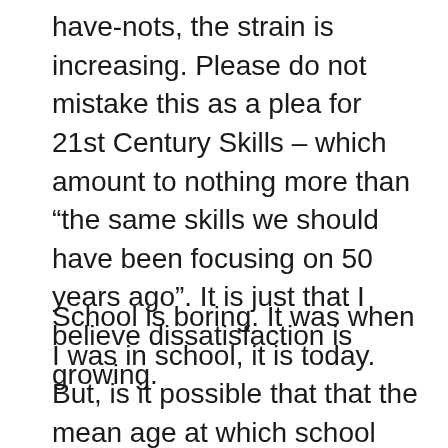have-nots, the strain is increasing. Please do not mistake this as a plea for 21st Century Skills – which amount to nothing more than “the same skills we should have been focusing on 50 years ago”. It is just that I believe dissatisfaction is growing.
School is boring. It was when I was in school, it is today. But, is it possible that that the mean age at which school becomes boring is lower